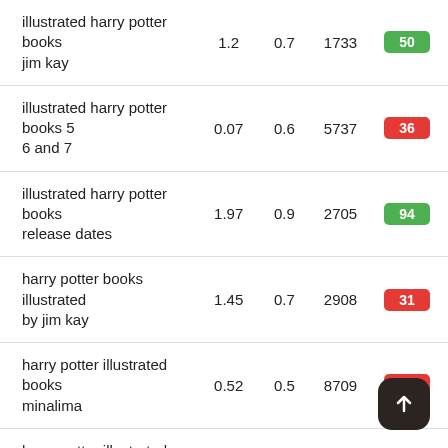| Keyword | Col1 | Col2 | Col3 | Score |
| --- | --- | --- | --- | --- |
| illustrated harry potter books jim kay | 1.2 | 0.7 | 1733 | 50 |
| illustrated harry potter books 5 6 and 7 | 0.07 | 0.6 | 5737 | 36 |
| illustrated harry potter books release dates | 1.97 | 0.9 | 2705 | 94 |
| harry potter books illustrated by jim kay | 1.45 | 0.7 | 2908 | 31 |
| harry potter illustrated books minalima | 0.52 | 0.5 | 8709 | 29 |
| harry potter illustrated books 4-6 | 1.03 | 0.4 | 1931 | 13 |